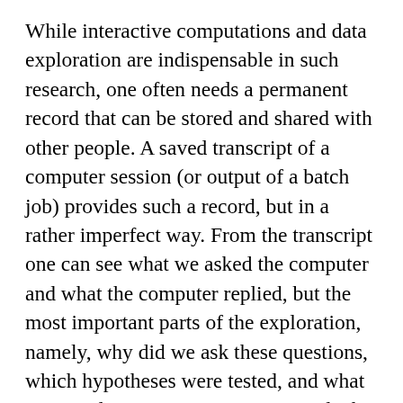While interactive computations and data exploration are indispensable in such research, one often needs a permanent record that can be stored and shared with other people. A saved transcript of a computer session (or output of a batch job) provides such a record, but in a rather imperfect way. From the transcript one can see what we asked the computer and what the computer replied, but the most important parts of the exploration, namely, why did we ask these questions, which hypotheses were tested, and what our conclusions were, remain outside this record. We can add such information in comments to the R code, but it is awkward to express a complex discussion, often heavy with mathematics, using only an equivalent of an old-fashioned typewriter. This is why many commercial interactive computation systems